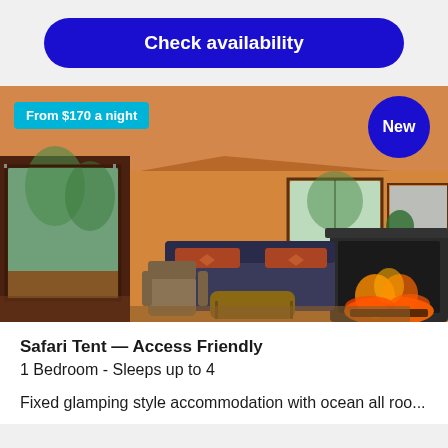Check availability
[Figure (photo): Interior of a safari-style glamping tent showing a living area with a dark sofa with patterned cushions, a fireplace with glowing fire, large glass sliding doors opening onto a wooden deck surrounded by trees, warm orange/brown canvas walls and ceiling, a small window with a potted plant, and a rocking chair by a table. A cyan badge reads 'From $170 a night' in the top-left and a blue circle badge reads 'New' in the top-right.]
Safari Tent — Access Friendly
1 Bedroom - Sleeps up to 4
Fixed glamping style accommodation with ocean all roo...